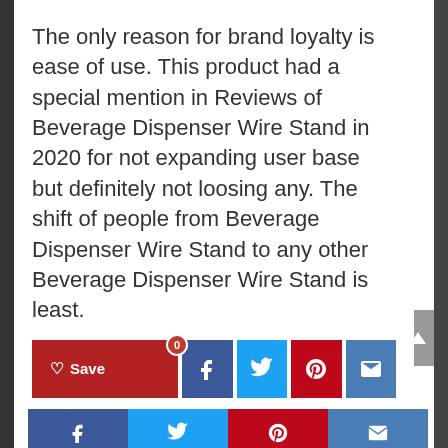The only reason for brand loyalty is ease of use. This product had a special mention in Reviews of Beverage Dispenser Wire Stand in 2020 for not expanding user base but definitely not loosing any. The shift of people from Beverage Dispenser Wire Stand to any other Beverage Dispenser Wire Stand is least.
[Figure (infographic): Social share bar with Save (heart icon, badge 0), Facebook, Twitter, Pinterest, and Email buttons]
Related Articles
[Figure (infographic): Bottom sticky social bar with Facebook, Twitter, Pinterest, and Email buttons]